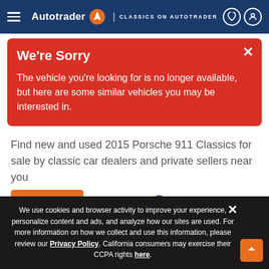Autotrader | CLASSICS ON AUTOTRADER
We're Sorry
The vehicle you're looking for is no longer available, but here are some similar vehicles you may be interested in.
Find new and used 2015 Porsche 911 Classics for sale by classic car dealers and private sellers near you
Filters   Clear Filters
Sort Results By   Show 25
We use cookies and browser activity to improve your experience, personalize content and ads, and analyze how our sites are used. For more information on how we collect and use this information, please review our Privacy Policy. California consumers may exercise their CCPA rights here.